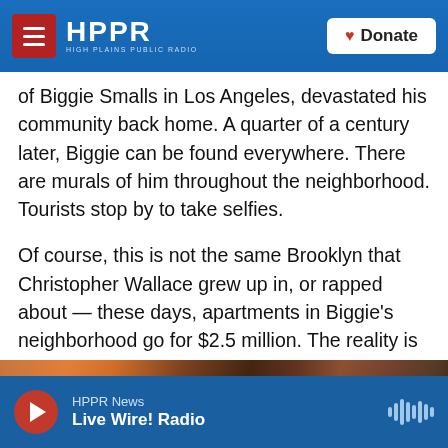HPPR — HIGH PLAINS PUBLIC RADIO | Donate
of Biggie Smalls in Los Angeles, devastated his community back home. A quarter of a century later, Biggie can be found everywhere. There are murals of him throughout the neighborhood. Tourists stop by to take selfies.
Of course, this is not the same Brooklyn that Christopher Wallace grew up in, or rapped about — these days, apartments in Biggie's neighborhood go for $2.5 million. The reality is that a lot of the people Biggie came up with have been priced out.
[Figure (photo): Partial photo strip showing people in colorful clothing against an orange and brown background]
HPPR News | Live Wire! Radio